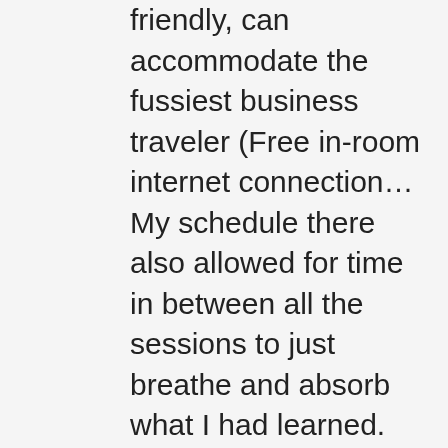friendly, can accommodate the fussiest business traveler (Free in-room internet connection… My schedule there also allowed for time in between all the sessions to just breathe and absorb what I had learned. Compare Reviews, Photos, & Availability w/ Travelocity. Take a morning or afternoon swim in our pool. Additional Services. Residence Inn by Marriott Birmingham Homewood. Residence Inn by Marriott Birmingham Homewood: The staff really makes this place stand out! Very good. Are pets allowed at Residence Inn by Marriott Birmingham Homewood? Book Residence Inn by Marriott Birmingham Homewood, Birmingham on Tripadvisor: See 163 traveller reviews, 57 candid photos, and great deals for Residence Inn by Marriott Birmingham Homewood, ranked #49 of 84 hotels in Birmingham and rated 3.5 of 5 at Tripadvisor. #49 of 84 hotels in Birmingham. Does Residence Inn by Marriott Birmingham